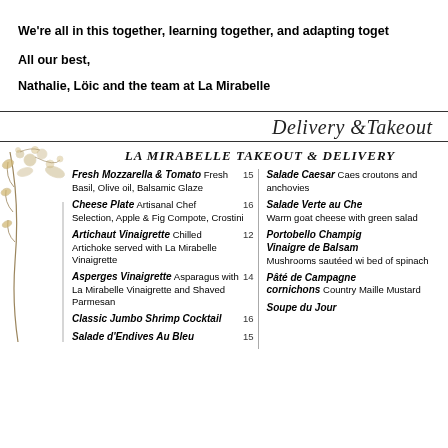We're all in this together, learning together, and adapting together.
All our best,
Nathalie, Löic and the team at La Mirabelle
Delivery & Takeout
LA MIRABELLE TAKEOUT & DELIVERY
Fresh Mozzarella & Tomato  Fresh Basil, Olive oil, Balsamic Glaze  15
Cheese Plate  Artisanal Chef Selection, Apple & Fig Compote, Crostini  16
Artichaut Vinaigrette  Chilled Artichoke served with La Mirabelle Vinaigrette  12
Asperges Vinaigrette  Asparagus with La Mirabelle Vinaigrette and Shaved Parmesan  14
Classic Jumbo Shrimp Cocktail  16
Salade d'Endives Au Bleu  15
Salade Caesar  Caesar dressing, croutons and anchovies
Salade Verte au Che  Warm goat cheese with green salad
Portobello Champignons Vinaigre de Balsam  Mushrooms sautéed with bed of spinach
Pâté de Campagne cornichons  Country Maille Mustard
Soupe du Jour